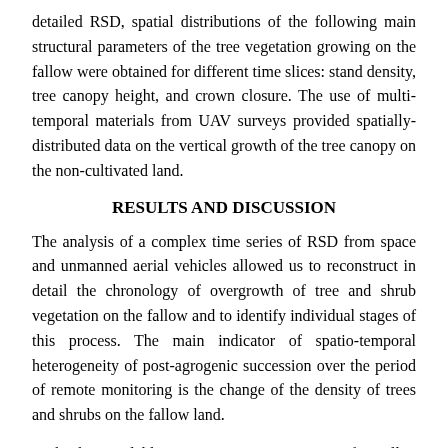detailed RSD, spatial distributions of the following main structural parameters of the tree vegetation growing on the fallow were obtained for different time slices: stand density, tree canopy height, and crown closure. The use of multi-temporal materials from UAV surveys provided spatially-distributed data on the vertical growth of the tree canopy on the non-cultivated land.
RESULTS AND DISCUSSION
The analysis of a complex time series of RSD from space and unmanned aerial vehicles allowed us to reconstruct in detail the chronology of overgrowth of tree and shrub vegetation on the fallow and to identify individual stages of this process. The main indicator of spatio-temporal heterogeneity of post-agrogenic succession over the period of remote monitoring is the change of the density of trees and shrubs on the fallow land.
With the available intermittent time series of satellite images, we can date the time of land removal out of cultivation as 2005 at